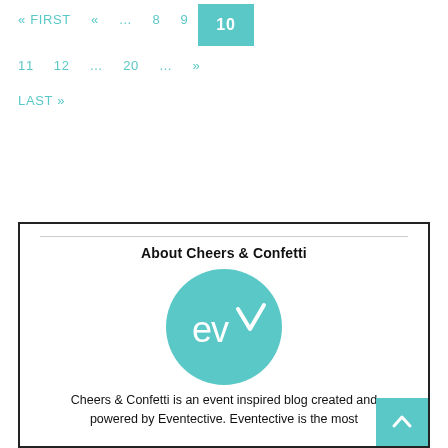« FIRST  «  ...  8  9  10
11  12  ...  20  ...  »
LAST »
About Cheers & Confetti
[Figure (logo): Teal circular logo with 'ev' and a checkmark inside, representing Eventective]
Cheers & Confetti is an event inspired blog created and powered by Eventective. Eventective is the most